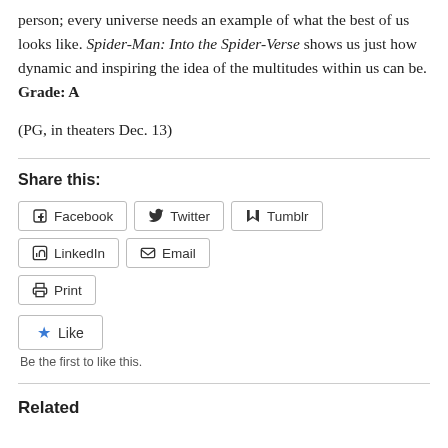person; every universe needs an example of what the best of us looks like. Spider-Man: Into the Spider-Verse shows us just how dynamic and inspiring the idea of the multitudes within us can be. Grade: A
(PG, in theaters Dec. 13)
Share this:
Facebook
Twitter
Tumblr
LinkedIn
Email
Print
Like
Be the first to like this.
Related